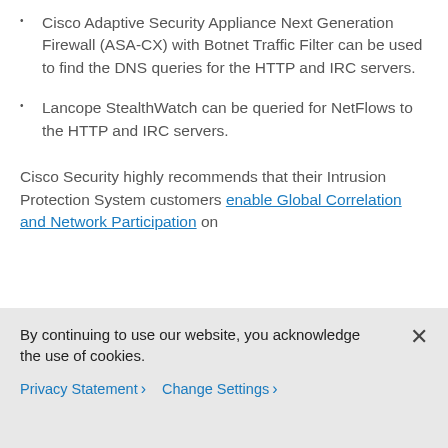Cisco Adaptive Security Appliance Next Generation Firewall (ASA-CX) with Botnet Traffic Filter can be used to find the DNS queries for the HTTP and IRC servers.
Lancope StealthWatch can be queried for NetFlows to the HTTP and IRC servers.
Cisco Security highly recommends that their Intrusion Protection System customers enable Global Correlation and Network Participation on
By continuing to use our website, you acknowledge the use of cookies.
Privacy Statement > Change Settings >